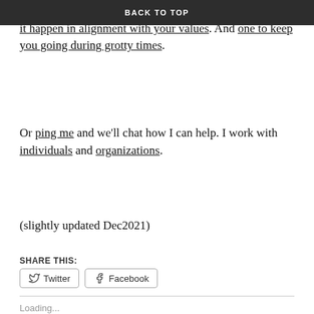BACK TO TOP
There is a book to go deeper on change and how to make it happen in alignment with your values. And one to keep you going during grotty times.
Or ping me and we'll chat how I can help. I work with individuals and organizations.
(slightly updated Dec2021)
SHARE THIS:
Twitter  Facebook
Loading...